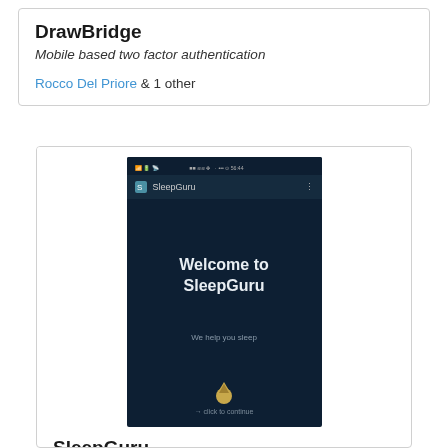DrawBridge
Mobile based two factor authentication
Rocco Del Priore & 1 other
[Figure (screenshot): Mobile app screenshot showing 'Welcome to SleepGuru' with tagline 'We help you sleep' and a logo at the bottom with 'click to continue' text]
SleepGuru